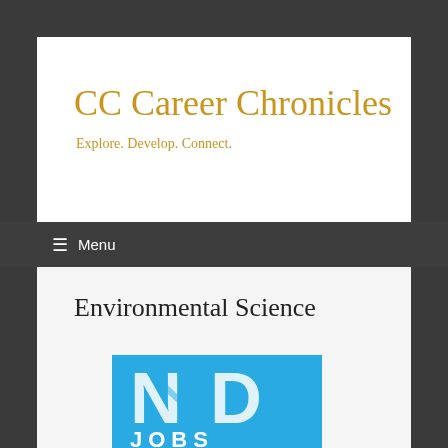CC Career Chronicles
Explore. Develop. Connect.
≡  Menu
Environmental Science
[Figure (logo): ND Jobs logo — blue background with large white 'ND' letters and 'JOBS' text below in white on blue]